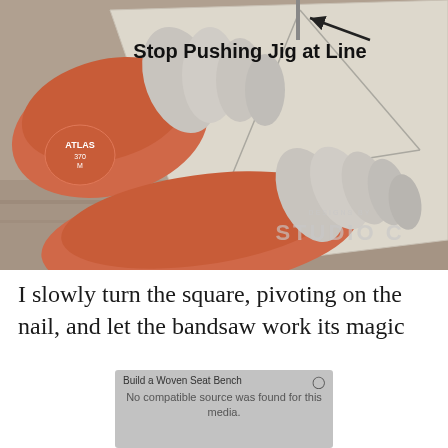[Figure (photo): A person wearing orange and grey Atlas 370M gloves pushing a jig (MDF board with triangle lines) on a bandsaw table. An arrow points to a line on the board with label 'Stop Pushing Jig at Line'. A watermark reads 'Designs by Studio C'.]
I slowly turn the square, pivoting on the nail, and let the bandsaw work its magic
[Figure (screenshot): A video player placeholder showing title 'Build a Woven Seat Bench' and message 'No compatible source was found for this media.']